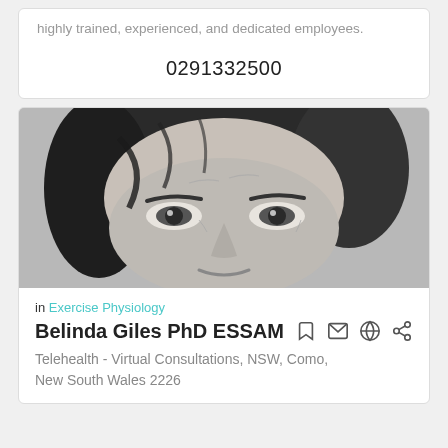highly trained, experienced, and dedicated employees.
0291332500
[Figure (photo): Black and white close-up portrait photo of Belinda Giles, showing face from forehead to chin level, with short dark hair.]
in Exercise Physiology
Belinda Giles PhD ESSAM
Telehealth - Virtual Consultations, NSW, Como, New South Wales 2226